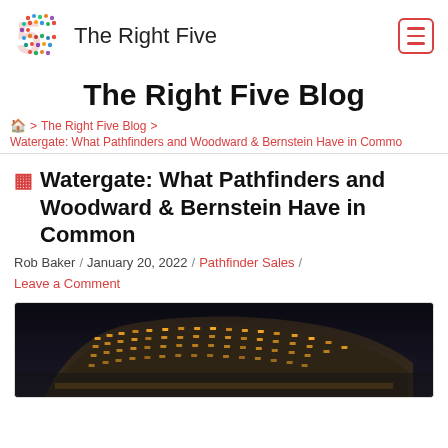The Right Five
The Right Five Blog
🏠 > The Right Five Blog > Watergate: What Pathfinders and Woodward & Bernstein Have in Common
Watergate: What Pathfinders and Woodward & Bernstein Have in Common
Rob Baker / January 20, 2022 / Pathfinder Sales / Leave a Comment
[Figure (photo): Nighttime photo of the Watergate building complex, a curved modernist building with lit windows against a dark sky]